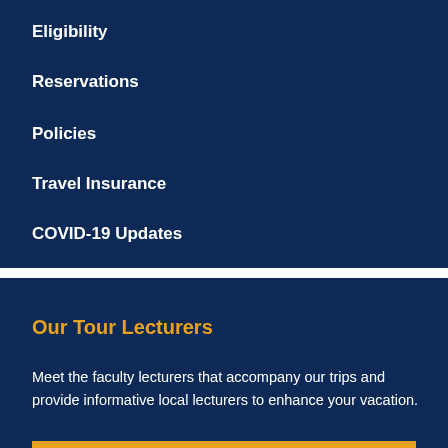Eligibility
Reservations
Policies
Travel Insurance
COVID-19 Updates
Our Tour Lecturers
Meet the faculty lecturers that accompany our trips and provide informative local lecturers to enhance your vacation.